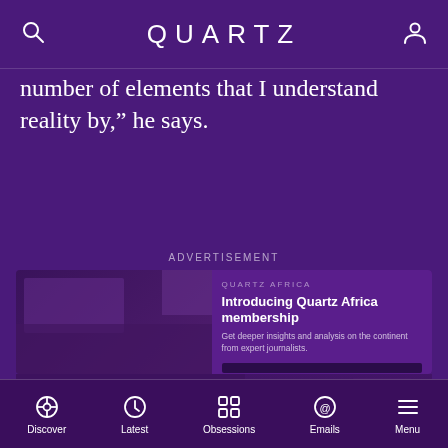QUARTZ
number of elements that I understand reality by,” he says.
ADVERTISEMENT
[Figure (screenshot): Quartz Africa membership advertisement with imagery on the left and text on the right reading: Introducing Quartz Africa membership. Get deeper insights and analysis on the continent from expert journalists.]
Discover Latest Obsessions Emails Menu